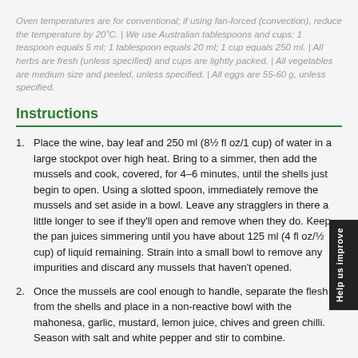Oven temperatures are for conventional; if using fan-forced (convection), reduce the temperature by 20°C. | We use Australian tablespoons and cups: 1 teaspoon equals 5 ml; 1 tablespoon equals 20 ml; 1 cup equals 250 ml. | All herbs are fresh (unless specified) and cups are lightly packed. | All vegetables are medium size and peeled, unless specified. | All eggs are 55-60 g, unless specified.
Instructions
Place the wine, bay leaf and 250 ml (8½ fl oz/1 cup) of water in a large stockpot over high heat. Bring to a simmer, then add the mussels and cook, covered, for 4–6 minutes, until the shells just begin to open. Using a slotted spoon, immediately remove the mussels and set aside in a bowl. Leave any stragglers in there a little longer to see if they'll open and remove when they do. Keep the pan juices simmering until you have about 125 ml (4 fl oz/½ cup) of liquid remaining. Strain into a small bowl to remove any impurities and discard any mussels that haven't opened.
Once the mussels are cool enough to handle, separate the flesh from the shells and place in a non-reactive bowl with the mahonesa, garlic, mustard, lemon juice, chives and green chilli. Season with salt and white pepper and stir to combine.
Serve the mussels as a salad on a bed of shredded lettuce with hot sauce and lemon wedges on the side or in a sandwich with extra hot sauce and a few slices of gherkin.